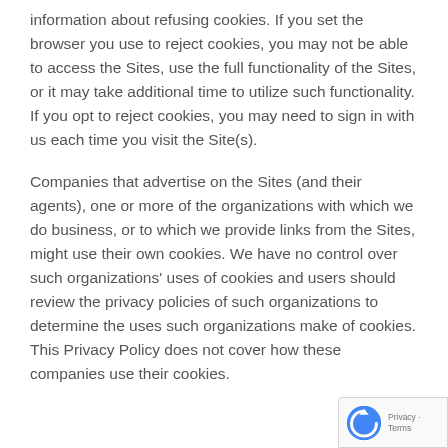information about refusing cookies. If you set the browser you use to reject cookies, you may not be able to access the Sites, use the full functionality of the Sites, or it may take additional time to utilize such functionality. If you opt to reject cookies, you may need to sign in with us each time you visit the Site(s).
Companies that advertise on the Sites (and their agents), one or more of the organizations with which we do business, or to which we provide links from the Sites, might use their own cookies. We have no control over such organizations' uses of cookies and users should review the privacy policies of such organizations to determine the uses such organizations make of cookies. This Privacy Policy does not cover how these companies use their cookies.
[Figure (logo): reCAPTCHA badge with Google logo and Privacy - Terms text]